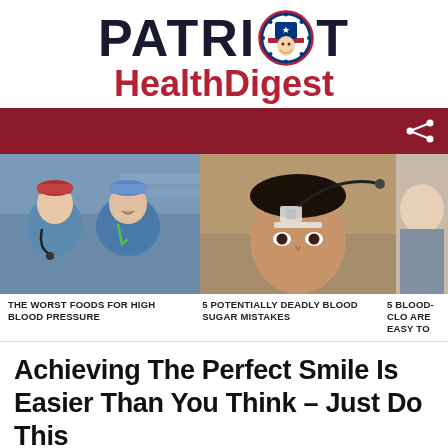[Figure (logo): Patriot Health Digest logo with patriot mascot icon in circle]
[Figure (photo): Dark red navigation bar with share icon]
[Figure (photo): Three-panel image strip: two doctors in scrubs, man with EEG sensors on head, partially cropped third image]
THE WORST FOODS FOR HIGH BLOOD PRESSURE
5 POTENTIALLY DEADLY BLOOD SUGAR MISTAKES
5 BLOOD-CLO ARE EASY TO
Achieving The Perfect Smile Is Easier Than You Think – Just Do This
by Patriot Health Digest • about a year ago